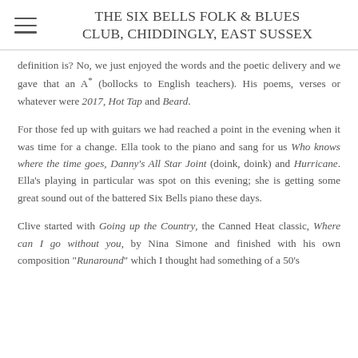THE SIX BELLS FOLK & BLUES CLUB, CHIDDINGLY, EAST SUSSEX
definition is? No, we just enjoyed the words and the poetic delivery and we gave that an A* (bollocks to English teachers). His poems, verses or whatever were 2017, Hot Tap and Beard.
For those fed up with guitars we had reached a point in the evening when it was time for a change. Ella took to the piano and sang for us Who knows where the time goes, Danny's All Star Joint (doink, doink) and Hurricane. Ella's playing in particular was spot on this evening; she is getting some great sound out of the battered Six Bells piano these days.
Clive started with Going up the Country, the Canned Heat classic, Where can I go without you, by Nina Simone and finished with his own composition "Runaround" which I thought had something of a 50's